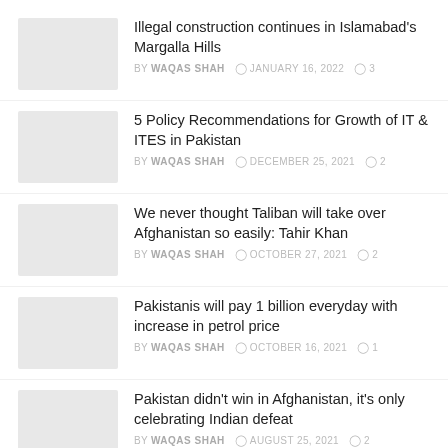Illegal construction continues in Islamabad's Margalla Hills | BY WAQAS SHAH | JANUARY 16, 2022 | 3 comments
5 Policy Recommendations for Growth of IT & ITES in Pakistan | BY WAQAS SHAH | DECEMBER 25, 2021 | 2 comments
We never thought Taliban will take over Afghanistan so easily: Tahir Khan | BY WAQAS SHAH | OCTOBER 27, 2021 | 2 comments
Pakistanis will pay 1 billion everyday with increase in petrol price | BY WAQAS SHAH | OCTOBER 16, 2021 | 1 comment
Pakistan didn't win in Afghanistan, it's only celebrating Indian defeat | BY WAQAS SHAH | AUGUST 25, 2021 | 2 comments